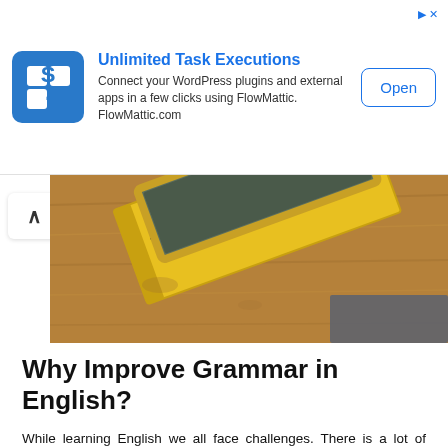[Figure (other): Advertisement banner for FlowMattic: Unlimited Task Executions. Blue icon with stylized S/G letter, text: 'Connect your WordPress plugins and external apps in a few clicks using FlowMattic. FlowMattic.com'. Open button on right.]
[Figure (photo): Photo of a wooden table surface with a yellow English grammar reference and practice book and a chalkboard/slate partially visible.]
Why Improve Grammar in English?
While learning English we all face challenges. There is a lot of confusion about grammar. It is more like a difficult game with a difficult set of instructions. But improving English skills and grammar will carry weight in